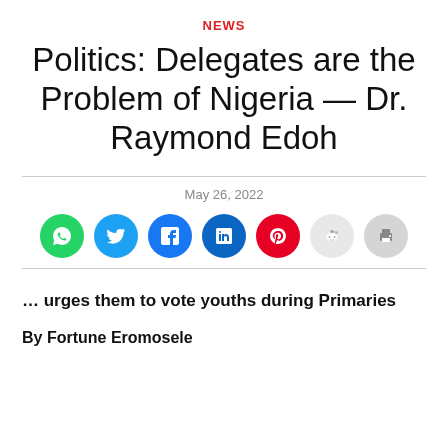NEWS
Politics: Delegates are the Problem of Nigeria — Dr. Raymond Edoh
May 26, 2022
[Figure (infographic): Social media share buttons: WhatsApp, Twitter, Facebook, LinkedIn, Pinterest, Reddit, Print]
... urges them to vote youths during Primaries
By Fortune Eromosele